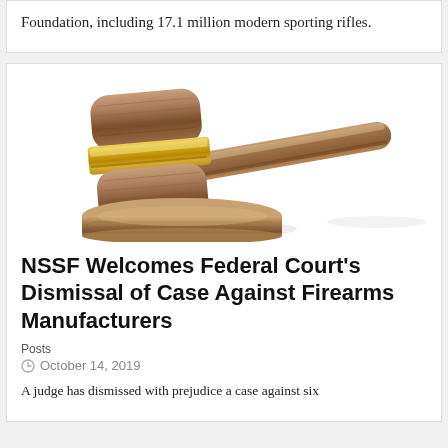Foundation, including 17.1 million modern sporting rifles.
[Figure (photo): A wooden judge's gavel with a gold band, resting on a wooden sound block, on a white background.]
NSSF Welcomes Federal Court's Dismissal of Case Against Firearms Manufacturers
Posts
October 14, 2019
A judge has dismissed with prejudice a case against six